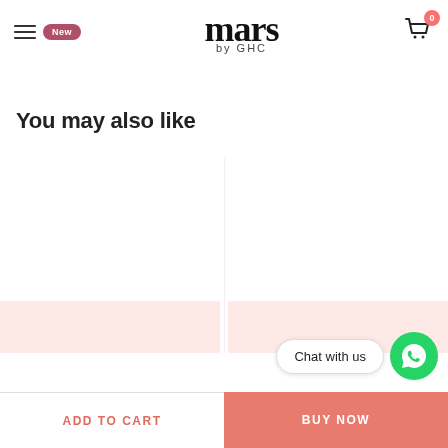mars by GHC — New — Cart 0
You may also like
[Figure (screenshot): Two pink-tinted product card placeholders side by side]
[Figure (other): Chat with us button with WhatsApp icon]
ADD TO CART
BUY NOW